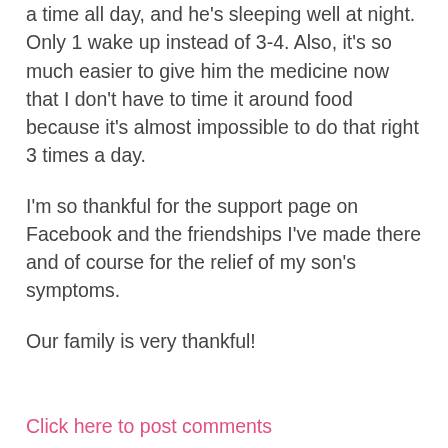a time all day, and he's sleeping well at night. Only 1 wake up instead of 3-4. Also, it's so much easier to give him the medicine now that I don't have to time it around food because it's almost impossible to do that right 3 times a day.
I'm so thankful for the support page on Facebook and the friendships I've made there and of course for the relief of my son's symptoms.
Our family is very thankful!
Click here to post comments